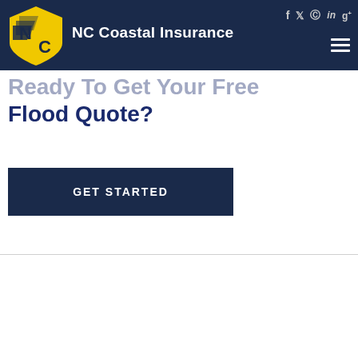NC Coastal Insurance — social icons: f, twitter, pinterest, linkedin, g+
Ready To Get Your Free Flood Quote?
GET STARTED